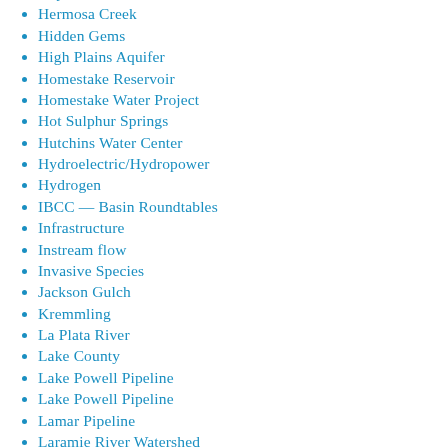Hayden
Hermosa Creek
Hidden Gems
High Plains Aquifer
Homestake Reservoir
Homestake Water Project
Hot Sulphur Springs
Hutchins Water Center
Hydroelectric/Hydropower
Hydrogen
IBCC — Basin Roundtables
Infrastructure
Instream flow
Invasive Species
Jackson Gulch
Kremmling
La Plata River
Lake County
Lake Powell Pipeline
Lake Powell Pipeline
Lamar Pipeline
Laramie River Watershed
Leadville Mine Drainage Tunnel
Lightner Creek
Lincoln Park/Cotter Mill
Little Colorado River